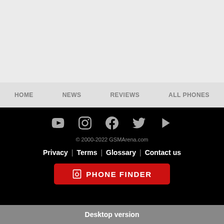[Figure (other): Gray empty space at top of page, likely an advertisement or image placeholder]
HOME  NEWS  REVIEWS  ALL PHONES
© 2000-2022 GSMArena.com  Privacy | Terms | Glossary | Contact us  PHONE FINDER  Desktop version